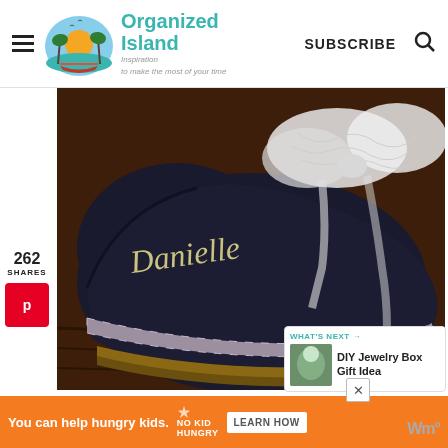Organized Island — Inspiration to make the most of your time
[Figure (photo): Close-up photo of a dark navy/black slipper shoe with the name 'Danielle' written in cream/yellow script letters on the toe, decorated with white lace bow on top and purple/white gingham ribbon trim around the edge, sitting on a wooden surface.]
262 SHARES
264
WHAT'S NEXT → DIY Jewelry Box Gift Idea
You can help hungry kids. NO KID HUNGRY LEARN HOW